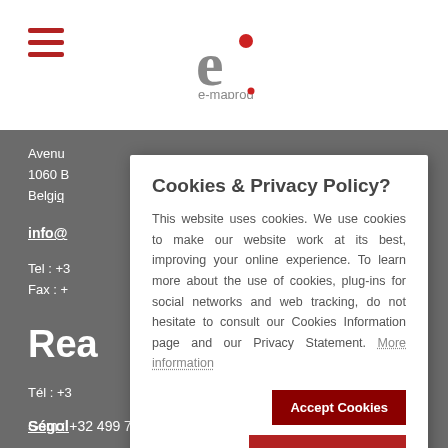[Figure (logo): e-maprod logo — stylized 'e' with red dot, and text 'e-maprod' with red dot]
[Figure (other): Hamburger menu icon (three horizontal dark red bars)]
Avenu
1060 B
Belgiq
info@
Tel : +3
Fax : +
Rea
Tél : +3
Ségol
Gsm : +
Arthu
Gsm : +32 499 71 69 43
Cookies & Privacy Policy?
This website uses cookies. We use cookies to make our website work at its best, improving your online experience. To learn more about the use of cookies, plug-ins for social networks and web tracking, do not hesitate to consult our Cookies Information page and our Privacy Statement. More information
Accept Cookies
Customise Cookies